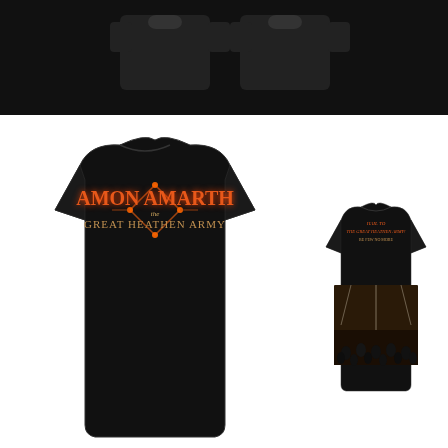[Figure (photo): Product image showing Amon Amarth 'The Great Heathen Army' merchandise. Top portion shows two black t-shirts (back view) on dark background. Bottom portion shows front and back view of a black t-shirt on white background. Front of shirt shows 'Amon Amarth' in orange gothic lettering and 'The Great Heathen Army' in smaller text within a diamond-shaped orange ornamental border. Back of smaller shirt shows concert photo and text 'Hail to the Great Heathen Army! Be Few No More'.]